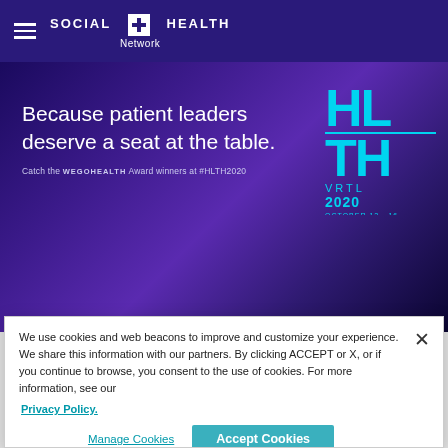Social Health Network
[Figure (illustration): Banner with purple gradient background. Large white text: 'Because patient leaders deserve a seat at the table.' Subtitle: 'Catch the WEGOHEALTH Award winners at #HLTH2020'. HLTH VRTL 2020 October 12-16 logo in cyan on right side.]
We use cookies and web beacons to improve and customize your experience. We share this information with our partners. By clicking ACCEPT or X, or if you continue to browse, you consent to the use of cookies. For more information, see our
Privacy Policy.
Manage Cookies
Accept Cookies